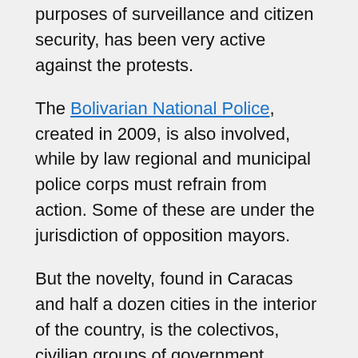purposes of surveillance and citizen security, has been very active against the protests.
The Bolivarian National Police, created in 2009, is also involved, while by law regional and municipal police corps must refrain from action. Some of these are under the jurisdiction of opposition mayors.
But the novelty, found in Caracas and half a dozen cities in the interior of the country, is the colectivos, civilian groups of government supporters whose members, mounted on motorbikes and carrying firearms, have attacked demonstrators, shops, homes and vehicles in opposition neighbourhoods.
“The behaviour pattern of these groups supports the theory that they are very probably coordinated with the People’s Guard to act on the margins of the constitution, with their display and use of war weapons.” Rocío San